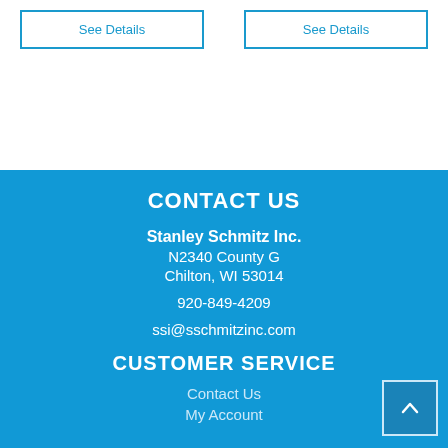See Details
See Details
CONTACT US
Stanley Schmitz Inc.
N2340 County G
Chilton, WI 53014

920-849-4209

ssi@sschmitzinc.com
CUSTOMER SERVICE
Contact Us
My Account